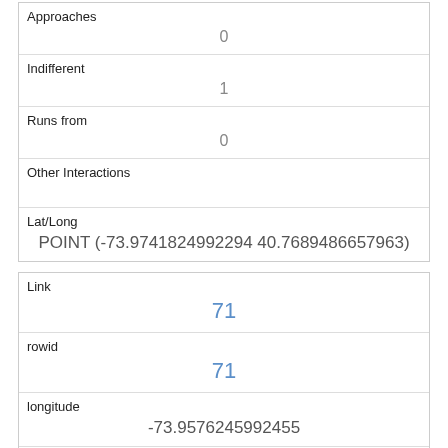| Approaches | 0 |
| Indifferent | 1 |
| Runs from | 0 |
| Other Interactions |  |
| Lat/Long | POINT (-73.9741824992294 40.7689486657963) |
| Link | 71 |
| rowid | 71 |
| longitude | -73.9576245992455 |
| latitude | 40.7873862510001 |
| Unique Squirrel ID | 39H-PM-1006-01 |